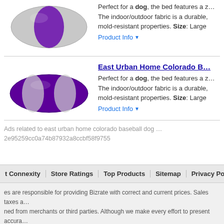[Figure (photo): Gray and purple striped dog bed pillow, top view]
Perfect for a dog, the bed features a z… The indoor/outdoor fabric is a durable, mold-resistant properties. Size: Large
Product Info ▼
East Urban Home Colorado B…
[Figure (photo): Purple and gray striped dog bed pillow, angled view]
Perfect for a dog, the bed features a z… The indoor/outdoor fabric is a durable, mold-resistant properties. Size: Large
Product Info ▼
Ads related to east urban home colorado baseball dog … 2e95259cc0a74b87932a8ccbf58f9755
t Connexity   Store Ratings   Top Products   Sitemap   Privacy Policy   User Agreement
es are responsible for providing Bizrate with correct and current prices. Sales taxes a… ned from merchants or third parties. Although we make every effort to present accura… epancies by clicking here.

e ratings and product reviews are submitted by online shoppers; they do not reflect ou…